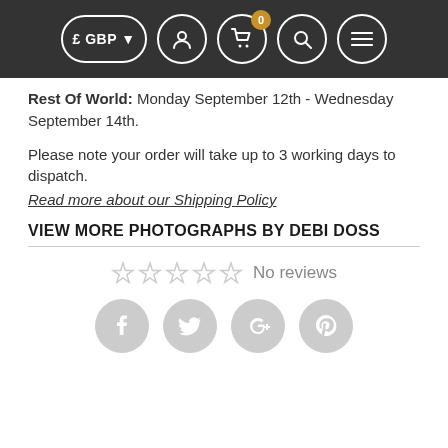£ GBP  [navigation icons: account, cart(0), search, menu]
Rest Of World: Monday September 12th - Wednesday September 14th.
Please note your order will take up to 3 working days to dispatch.
Read more about our Shipping Policy
VIEW MORE PHOTOGRAPHS BY DEBI DOSS
☆☆☆☆☆ No reviews
[Figure (other): Social media share icons: Facebook, Twitter, Google+, Pinterest — all grey circles]